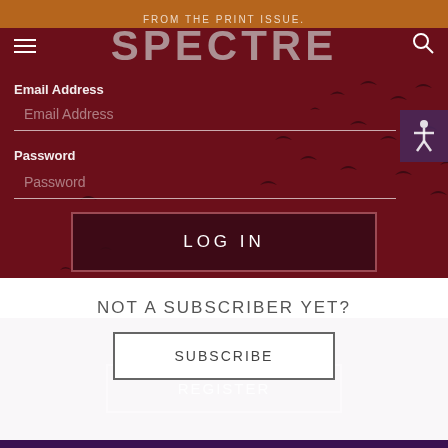FROM THE PRINT ISSUE. SPECTRE
Email Address
Email Address
Password
Password
LOG IN
FORGOT PASSWORD?
Biden, Borders and the Fight for Migrant Justice
NOT A SUBSCRIBER YET?
SUBSCRIBE
CREATE AN ACCOUNT
REGISTER